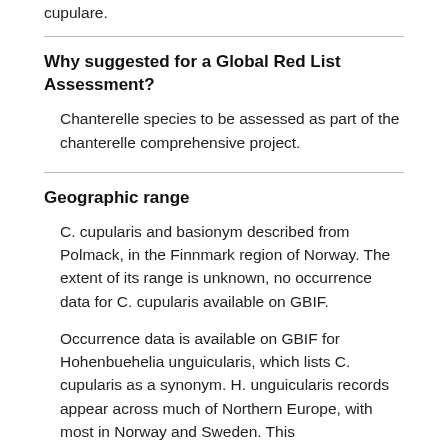cupulare.
Why suggested for a Global Red List Assessment?
Chanterelle species to be assessed as part of the chanterelle comprehensive project.
Geographic range
C. cupularis and basionym described from Polmack, in the Finnmark region of Norway. The extent of its range is unknown, no occurrence data for C. cupularis available on GBIF.
Occurrence data is available on GBIF for Hohenbuehelia unguicularis, which lists C. cupularis as a synonym. H. unguicularis records appear across much of Northern Europe, with most in Norway and Sweden. This